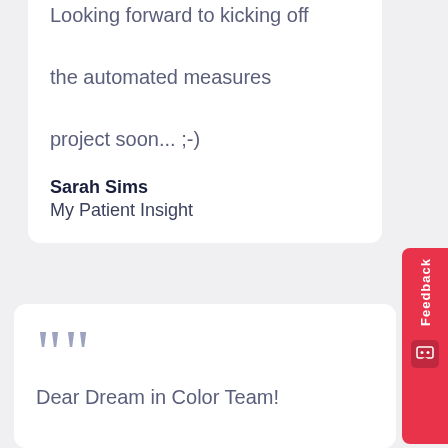Looking forward to kicking off the automated measures project soon... ;-)
Sarah Sims
My Patient Insight
[Figure (illustration): Large decorative quotation mark in slate blue color]
Dear Dream in Color Team!

Just wanted to send a quick